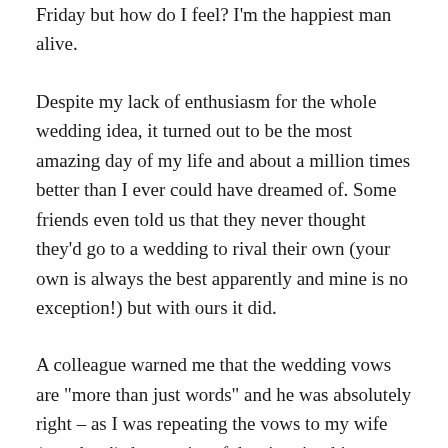Friday but how do I feel? I'm the happiest man alive.
Despite my lack of enthusiasm for the whole wedding idea, it turned out to be the most amazing day of my life and about a million times better than I ever could have dreamed of. Some friends even told us that they never thought they'd go to a wedding to rival their own (your own is always the best apparently and mine is no exception!) but with ours it did.
A colleague warned me that the wedding vows are "more than just words" and he was absolutely right – as I was repeating the vows to my wife (woo hoo!) the gravity of the situation hit me along with the emotion of it all and I broke down. She looked absolutely beautiful and as I was looking her in the eyes I meant every word and they came from the bottom of my heart. The rest of the day was a blur that flew